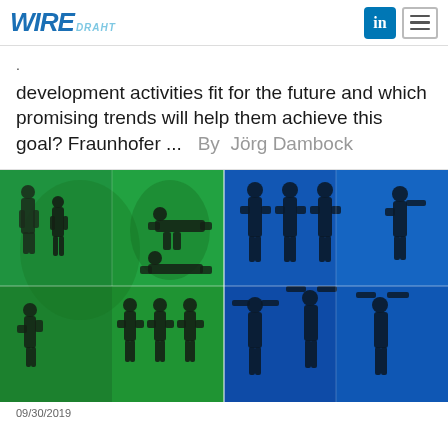WIRE DRAHT
development activities fit for the future and which promising trends will help them achieve this goal? Fraunhofer ...  By  Jörg Dambock
[Figure (photo): Artistic photo collage showing dark silhouettes of human figures against vivid green (left half) and blue (right half) illuminated backgrounds, arranged in a 2x2 grid pattern.]
09/30/2019